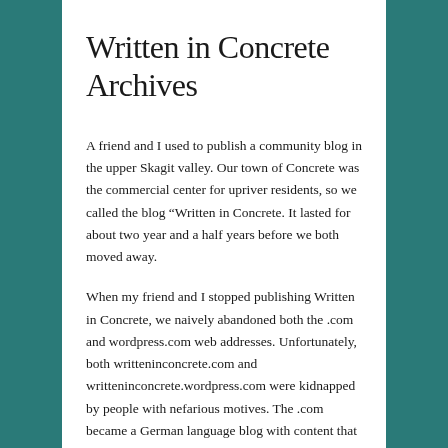Written in Concrete Archives
A friend and I used to publish a community blog in the upper Skagit valley. Our town of Concrete was the commercial center for upriver residents, so we called the blog “Written in Concrete. It lasted for about two year and a half years before we both moved away.
When my friend and I stopped publishing Written in Concrete, we naively abandoned both the .com and wordpress.com web addresses. Unfortunately, both writteninconcrete.com and writteninconcrete.wordpress.com were kidnapped by people with nefarious motives. The .com became a German language blog with content that had nothing